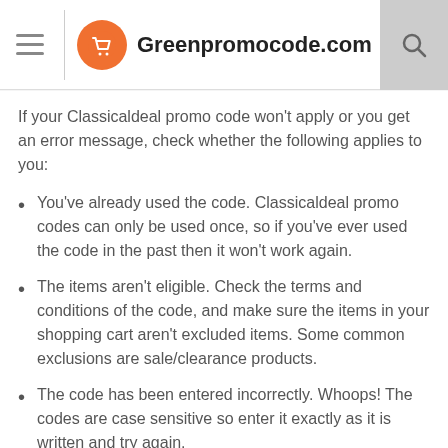Greenpromocode.com
If your Classicaldeal promo code won't apply or you get an error message, check whether the following applies to you:
You've already used the code. Classicaldeal promo codes can only be used once, so if you've ever used the code in the past then it won't work again.
The items aren't eligible. Check the terms and conditions of the code, and make sure the items in your shopping cart aren't excluded items. Some common exclusions are sale/clearance products.
The code has been entered incorrectly. Whoops! The codes are case sensitive so enter it exactly as it is written and try again.
The code has expired. Check the expiry